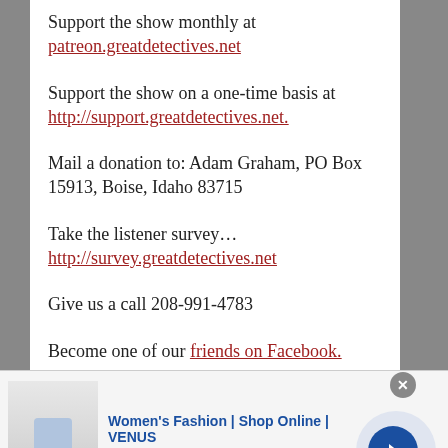Support the show monthly at patreon.greatdetectives.net
Support the show on a one-time basis at http://support.greatdetectives.net.
Mail a donation to: Adam Graham, PO Box 15913, Boise, Idaho 83715
Take the listener survey… http://survey.greatdetectives.net
Give us a call 208-991-4783
Become one of our friends on Facebook.
[Figure (screenshot): Advertisement banner for Women's Fashion | Shop Online | VENUS showing thumbnail image, title, description 'Shop the best in women's fashion, clothing, swimwear', URL venus.com, and a blue arrow button.]